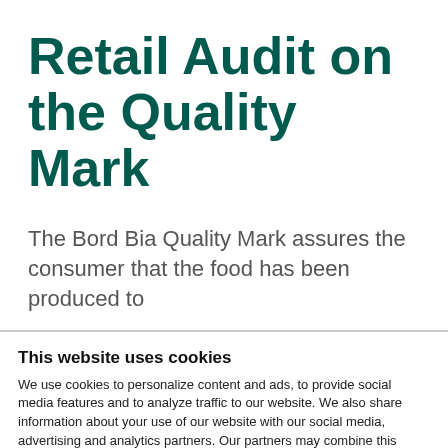Retail Audit on the Quality Mark
The Bord Bia Quality Mark assures the consumer that the food has been produced to
This website uses cookies
We use cookies to personalize content and ads, to provide social media features and to analyze traffic to our website. We also share information about your use of our website with our social media, advertising and analytics partners. Our partners may combine this information with other data that you have provided to them or that they have collected as part of your use of the Services. You must agree to our cookies if you continue to use our website.
Allow selection | Allow all cookies | Necessary | Preferences | Statistics | Marketing | Show details